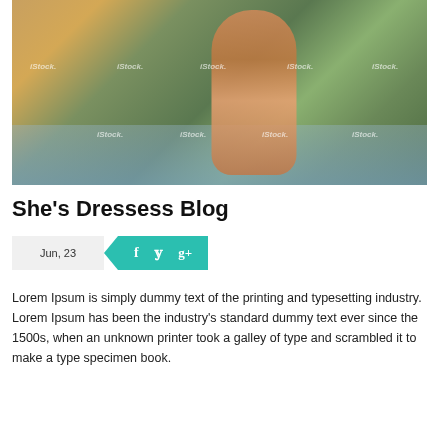[Figure (photo): Woman in floral bikini running through water, iStock watermarked photo, outdoor summer scene with water splashing]
She's Dressess Blog
Jun, 23
Lorem Ipsum is simply dummy text of the printing and typesetting industry. Lorem Ipsum has been the industry's standard dummy text ever since the 1500s, when an unknown printer took a galley of type and scrambled it to make a type specimen book.